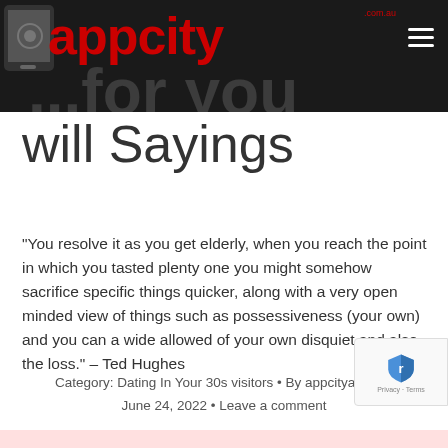appcity .com.au
will Sayings
“You resolve it as you get elderly, when you reach the point in which you tasted plenty one you might somehow sacrifice specific things quicker, along with a very open minded view of things such as possessiveness (your own) and you can a wide allowed of your own disquiet and also the loss.” – Ted Hughes
Category: Dating In Your 30s visitors • By appcityadmin • June 24, 2022 • Leave a comment